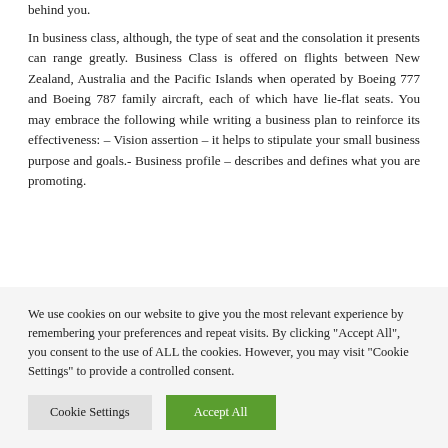behind you.
In business class, although, the type of seat and the consolation it presents can range greatly. Business Class is offered on flights between New Zealand, Australia and the Pacific Islands when operated by Boeing 777 and Boeing 787 family aircraft, each of which have lie-flat seats. You may embrace the following while writing a business plan to reinforce its effectiveness: – Vision assertion – it helps to stipulate your small business purpose and goals.- Business profile – describes and defines what you are promoting.
We use cookies on our website to give you the most relevant experience by remembering your preferences and repeat visits. By clicking "Accept All", you consent to the use of ALL the cookies. However, you may visit "Cookie Settings" to provide a controlled consent.